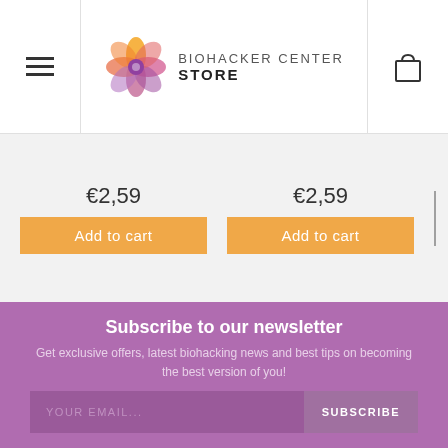[Figure (logo): Biohacker Center Store logo with geometric eye icon and text]
€2,59
€2,59
Add to cart
Add to cart
Subscribe to our newsletter
Get exclusive offers, latest biohacking news and best tips on becoming the best version of you!
YOUR EMAIL... SUBSCRIBE